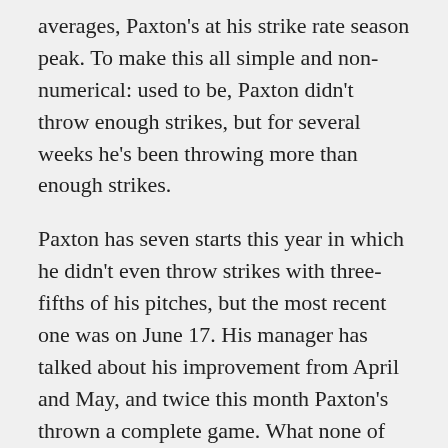averages, Paxton's at his strike rate season peak. To make this all simple and non-numerical: used to be, Paxton didn't throw enough strikes, but for several weeks he's been throwing more than enough strikes.
Paxton has seven starts this year in which he didn't even throw strikes with three-fifths of his pitches, but the most recent one was on June 17. His manager has talked about his improvement from April and May, and twice this month Paxton's thrown a complete game. What none of this is is a guarantee that Paxton has figured out how to hit his spots. We're using strike rate as a proxy for location, and Paxton's been facing some bad hitters, probably. And this is a hand-selected sample of starts that we're looking at. But James Paxton is coming on strong, by doing the thing he didn't do enough of before. Statistically, he's surging.